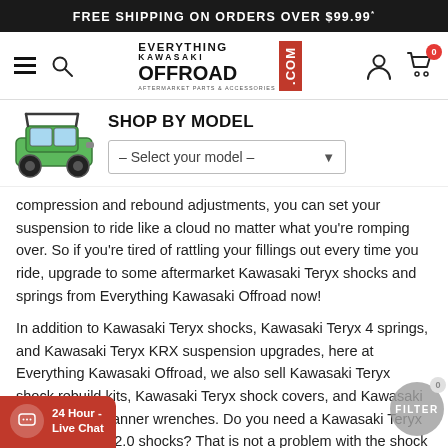FREE SHIPPING ON ORDERS OVER $99.99*
[Figure (logo): Everything Kawasaki Offroad .com logo with navigation bar including hamburger menu, search, user account, and cart icons]
SHOP BY MODEL
– Select your model –
compression and rebound adjustments, you can set your suspension to ride like a cloud no matter what you're romping over. So if you're tired of rattling your fillings out every time you ride, upgrade to some aftermarket Kawasaki Teryx shocks and springs from Everything Kawasaki Offroad now!
In addition to Kawasaki Teryx shocks, Kawasaki Teryx 4 springs, and Kawasaki Teryx KRX suspension upgrades, here at Everything Kawasaki Offroad, we also sell Kawasaki Teryx shock rebuild kits, Kawasaki Teryx shock covers, and Kawasaki Teryx shock spanner wrenches. Do you need a Kawasaki Teryx seal kit for Fox 2.0 shocks? That is not a problem with the shock seals we carry by Fox Racing. Or how about some extended front Kawasaki Teryx